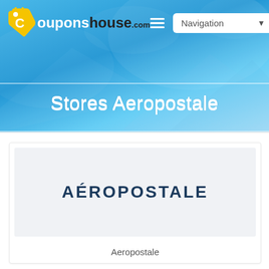[Figure (screenshot): CouponsHouse.com website header with logo, Navigation dropdown, hamburger menu, and user profile button over a blue sky/mountain background]
Stores Aeropostale
[Figure (logo): Aeropostale brand logo displayed in dark navy uppercase letters on a light gray background card]
Aeropostale